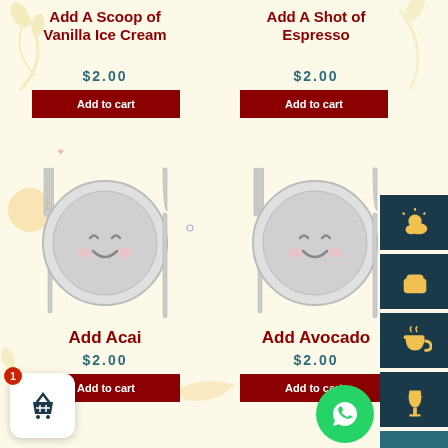Add A Scoop of Vanilla Ice Cream
$2.00
Add to cart
[Figure (illustration): Kawaii style plate with fork and knife illustration]
Add Acai
$2.00
Add to cart
Add A Shot of Espresso
$2.00
Add to cart
[Figure (illustration): Kawaii style plate with fork and knife illustration]
Add Avocado
$2.00
Add to cart